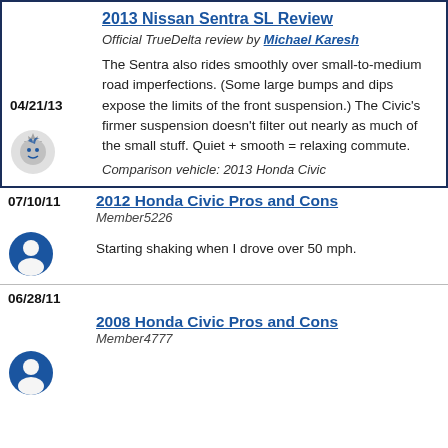2013 Nissan Sentra SL Review
Official TrueDelta review by Michael Karesh
04/21/13
The Sentra also rides smoothly over small-to-medium road imperfections. (Some large bumps and dips expose the limits of the front suspension.) The Civic’s firmer suspension doesn’t filter out nearly as much of the small stuff. Quiet + smooth = relaxing commute.
Comparison vehicle: 2013 Honda Civic
07/10/11
2012 Honda Civic Pros and Cons
Member5226
Starting shaking when I drove over 50 mph.
06/28/11
2008 Honda Civic Pros and Cons
Member4777